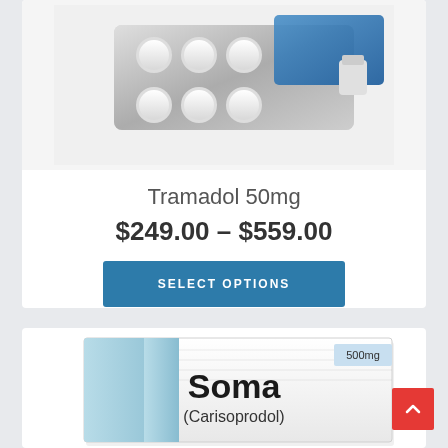[Figure (photo): Tramadol 50mg blister pack with white tablets and blue packaging, partially opened]
Tramadol 50mg
$249.00 – $559.00
SELECT OPTIONS
[Figure (photo): Soma (Carisoprodol) 500mg medication box in light blue and white packaging]